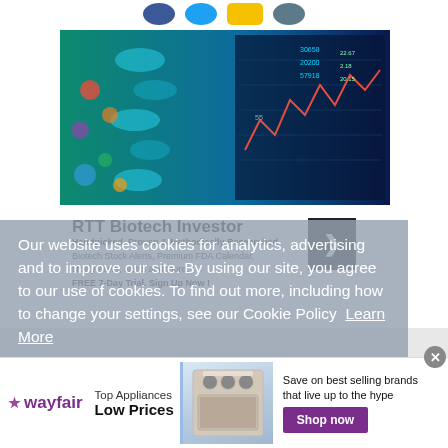[Figure (other): Social media icons bar at top of page (Facebook, Twitter, YouTube, and another platform icon)]
[Figure (photo): Biotech investor composite image: DNA double helix with colorful pills/molecules on left, financial stock market ticker/chart data on right]
RTT Biotech Investor
Handpicked, Proven & Methodically Researched Biotech Stock Alerts, Premium FDA Calendar, timely news, alerts and more. FREE 7-Day Trial. Sign Up Now !
Our website uses cookies for analytics, advertising and to improve our site. By using our site, you agree to our use of cookies. To find out more, including how to change your settings, see our Cookie Policy  Learn More
[Figure (photo): Wayfair advertisement showing kitchen appliance (range/stove), with logo, 'Top Appliances Low Prices' text, 'Save on best selling brands that live up to the hype', and 'Shop now' button]